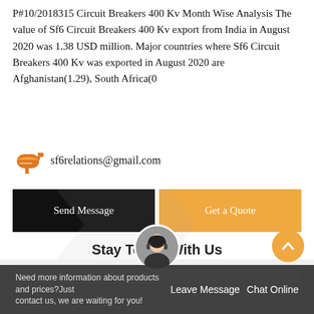P#10/2018315 Circuit Breakers 400 Kv Month Wise Analysis The value of Sf6 Circuit Breakers 400 Kv export from India in August 2020 was 1.38 USD million. Major countries where Sf6 Circuit Breakers 400 Kv was exported in August 2020 are Afghanistan(1.29), South Africa(0
sf6relations@gmail.com
Send Message
Get a Quote
Stay Touch With Us
Need more information about products and prices? Just contact us, we are waiting for you!
Leave Message
Chat Online